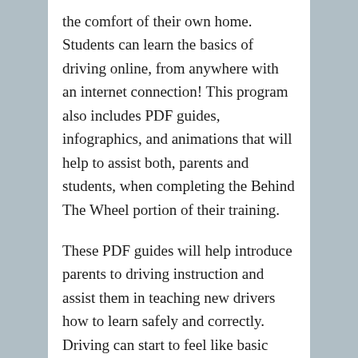the comfort of their own home. Students can learn the basics of driving online, from anywhere with an internet connection! This program also includes PDF guides, infographics, and animations that will help to assist both, parents and students, when completing the Behind The Wheel portion of their training.
These PDF guides will help introduce parents to driving instruction and assist them in teaching new drivers how to learn safely and correctly. Driving can start to feel like basic instincts to adults, and some required tasks and maneuvers may seem completely foreign to an untrained driver. Our guide will help to refresh parent's memory and ensure that they are capable of teaching their students the proper driving techniques.